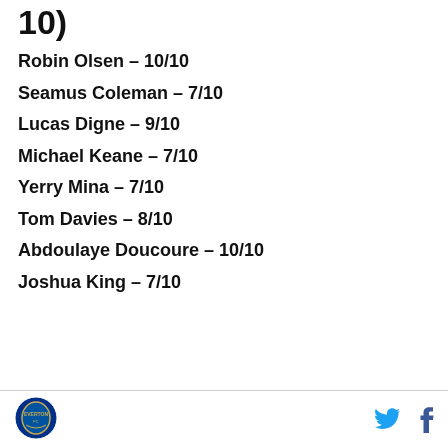10)
Robin Olsen – 10/10
Seamus Coleman – 7/10
Lucas Digne – 9/10
Michael Keane – 7/10
Yerry Mina – 7/10
Tom Davies – 8/10
Abdoulaye Doucoure – 10/10
Joshua King – 7/10
logo and social icons